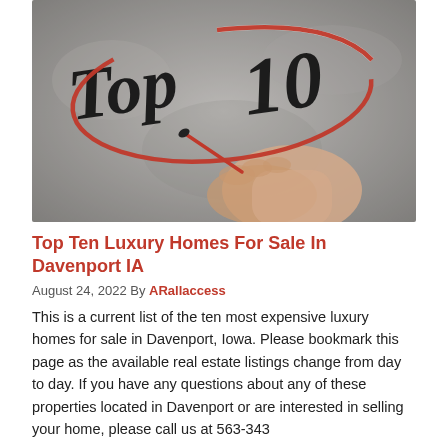[Figure (photo): Hand writing 'Top 10' in large black handwritten text on a glass surface, with a red oval circle drawn around the text. Gray concrete/stone background. A hand holds a red marker.]
Top Ten Luxury Homes For Sale In Davenport IA
August 24, 2022 By ARallaccess
This is a current list of the ten most expensive luxury homes for sale in Davenport, Iowa. Please bookmark this page as the available real estate listings change from day to day. If you have any questions about any of these properties located in Davenport or are interested in selling your home, please call us at 563-343